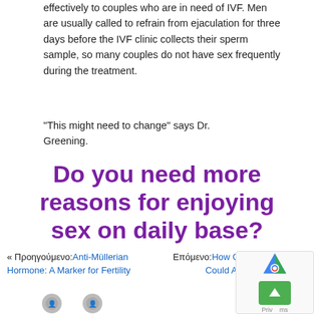effectively to couples who are in need of IVF. Men are usually called to refrain from ejaculation for three days before the IVF clinic collects their sperm sample, so many couples do not have sex frequently during the treatment.
“This might need to change” says Dr. Greening.
Do you need more reasons for enjoying sex on daily base?
« Προηγούμενο: Anti-Müllerian Hormone: A Marker for Fertility
Επόμενο: How Contraceptive pills Could Affect Your Fertility